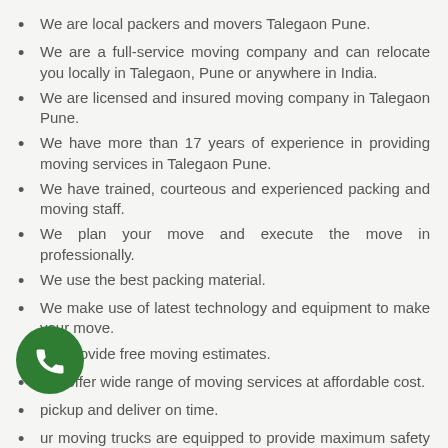We are local packers and movers Talegaon Pune.
We are a full-service moving company and can relocate you locally in Talegaon, Pune or anywhere in India.
We are licensed and insured moving company in Talegaon Pune.
We have more than 17 years of experience in providing moving services in Talegaon Pune.
We have trained, courteous and experienced packing and moving staff.
We plan your move and execute the move in professionally.
We use the best packing material.
We make use of latest technology and equipment to make your move.
We provide free moving estimates.
We offer wide range of moving services at affordable cost.
pickup and deliver on time.
ur moving trucks are equipped to provide maximum safety during transportation.